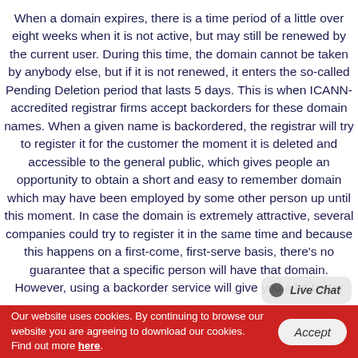When a domain expires, there is a time period of a little over eight weeks when it is not active, but may still be renewed by the current user. During this time, the domain cannot be taken by anybody else, but if it is not renewed, it enters the so-called Pending Deletion period that lasts 5 days. This is when ICANN-accredited registrar firms accept backorders for these domain names. When a given name is backordered, the registrar will try to register it for the customer the moment it is deleted and accessible to the general public, which gives people an opportunity to obtain a short and easy to remember domain which may have been employed by some other person up until this moment. In case the domain is extremely attractive, several companies could try to register it in the same time and because this happens on a first-come, first-serve basis, there's no guarantee that a specific person will have that domain. However, using a backorder service will give you a lot better
[Figure (other): Live Chat widget button in bottom-right area of page]
Our website uses cookies. By continuing to browse our website you are agreeing to download our cookies. Find out more here.